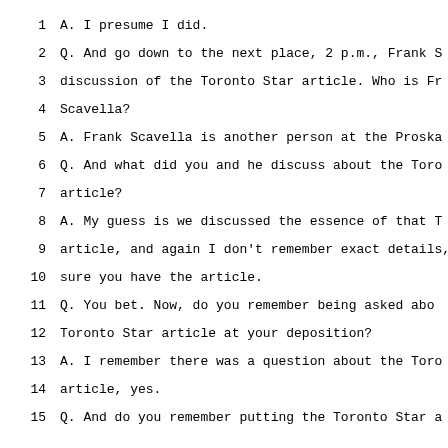1    A.  I presume I did.
2    Q.  And go down to the next place, 2 p.m., Frank S
3    discussion of the Toronto Star article.  Who is Fr
4    Scavella?
5    A.  Frank Scavella is another person at the Proska
6    Q.  And what did you and he discuss about the Toro
7    article?
8    A.  My guess is we discussed the essence of that T
9    article, and again I don't remember exact details,
10   sure you have the article.
11   Q.  You bet.  Now, do you remember being asked abo
12   Toronto Star article at your deposition?
13   A.  I remember there was a question about the Toro
14   article, yes.
15   Q.  And do you remember putting the Toronto Star a